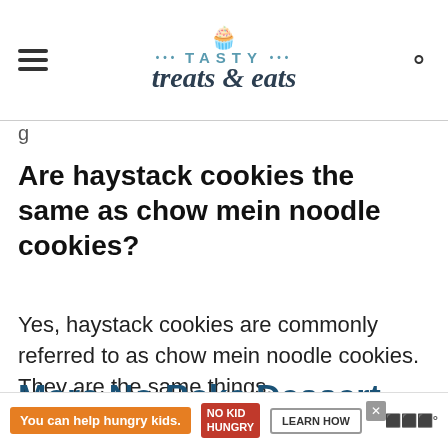TASTY treats & eats
g
Are haystack cookies the same as chow mein noodle cookies?
Yes, haystack cookies are commonly referred to as chow mein noodle cookies. They are the same things.
More No-Bake Dessert
[Figure (infographic): Advertisement banner: 'You can help hungry kids.' with No Kid Hungry logo and LEARN HOW button]